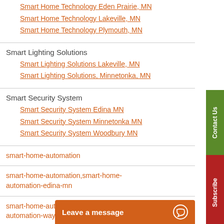Smart Home Technology Eden Prairie, MN
Smart Home Technology Lakeville, MN
Smart Home Technology Plymouth, MN
Smart Lighting Solutions
Smart Lighting Solutions Lakeville, MN
Smart Lighting Solutions, Minnetonka, MN
Smart Security System
Smart Security System Edina MN
Smart Security System Minnetonka MN
Smart Security System Woodbury MN
smart-home-automation
smart-home-automation,smart-home-automation-edina-mn
smart-home-automation,smart-home-automation-wayza...
smart-home-contr...